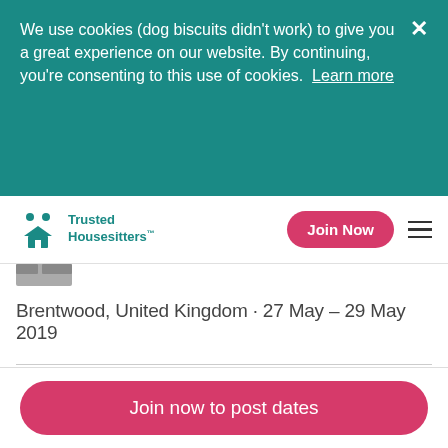We use cookies (dog biscuits didn't work) to give you a great experience on our website. By continuing, you're consenting to this use of cookies.  Learn more
[Figure (logo): Trusted Housesitters logo with icon and text, teal color]
Join Now
Brentwood, United Kingdom · 27 May – 29 May 2019
1 >
Join now to post dates